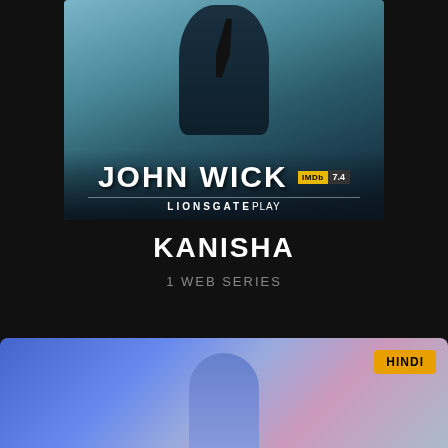[Figure (photo): John Wick movie poster showing a man in a dark suit with a tie, bluish teal background. Shows title 'JOHN WICK' with IMDb rating 7.4, and 'LIONSGATE PLAY' branding at the bottom.]
KANISHA
1 WEB SERIES
[Figure (photo): Partial web series thumbnail with a purple/blue background showing a person, with a 'HINDI' badge in the top right corner.]